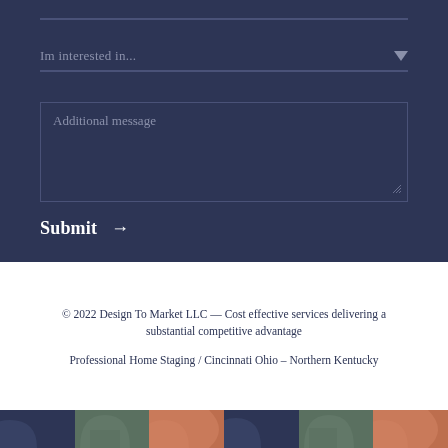[Figure (screenshot): Dark navy background form section with dropdown field labeled 'Im interested in...' with a down arrow, a text area labeled 'Additional message', and a Submit button with right arrow]
© 2022 Design To Market LLC — Cost effective services delivering a substantial competitive advantage
Professional Home Staging / Cincinnati Ohio – Northern Kentucky
[Figure (illustration): Bottom decorative strip with alternating colored segments (navy, sage green, terracotta) containing partial arch shapes]